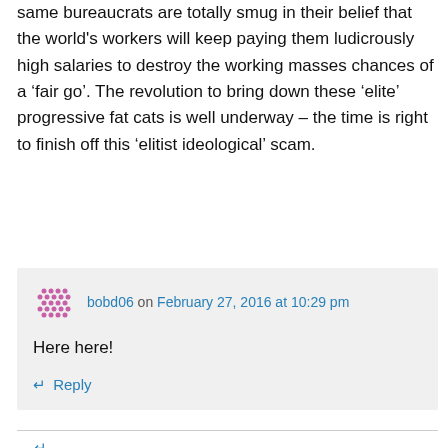same bureaucrats are totally smug in their belief that the world's workers will keep paying them ludicrously high salaries to destroy the working masses chances of a ‘fair go’. The revolution to bring down these ‘elite’ progressive fat cats is well underway – the time is right to finish off this ‘elitist ideological’ scam.
↵ Reply
bobd06 on February 27, 2016 at 10:29 pm
Here here!
↵ Reply